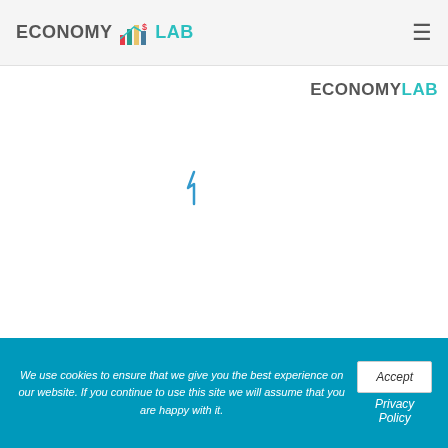ECONOMY LAB
ECONOMYLAB
[Figure (other): Blue loading cursor/spinner symbol in the center of the page]
We use cookies to ensure that we give you the best experience on our website. If you continue to use this site we will assume that you are happy with it.
Accept
Privacy Policy